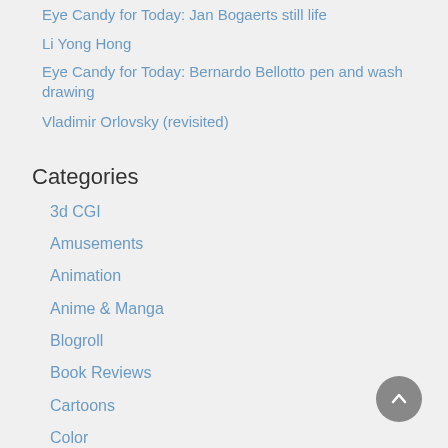Eye Candy for Today: Jan Bogaerts still life
Li Yong Hong
Eye Candy for Today: Bernardo Bellotto pen and wash drawing
Vladimir Orlovsky (revisited)
Categories
3d CGI
Amusements
Animation
Anime & Manga
Blogroll
Book Reviews
Cartoons
Color
Comics
Concept & Visual Dev.
Creativity
Digital Art